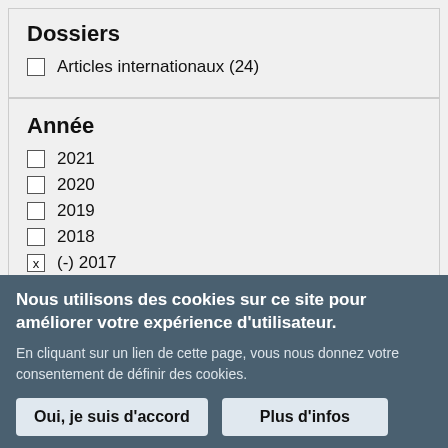Dossiers
Articles internationaux (24)
Année
2021
2020
2019
2018
(-) 2017
Nous utilisons des cookies sur ce site pour améliorer votre expérience d'utilisateur.
En cliquant sur un lien de cette page, vous nous donnez votre consentement de définir des cookies.
Oui, je suis d'accord
Plus d'infos